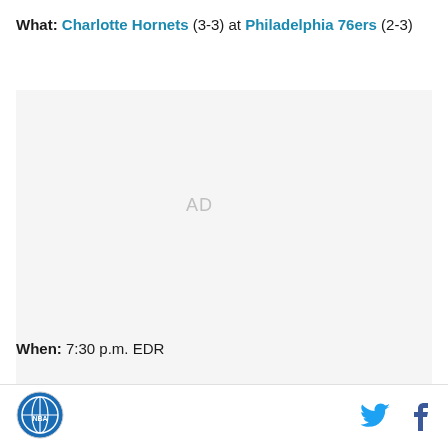What: Charlotte Hornets (3-3) at Philadelphia 76ers (2-3)
[Figure (other): Advertisement placeholder (AD label in gray on light gray background)]
When: 7:30 p.m. EDR
Where: Wells Fargo Center, Philadelphia, PA
SB Nation logo | Twitter icon | Facebook icon